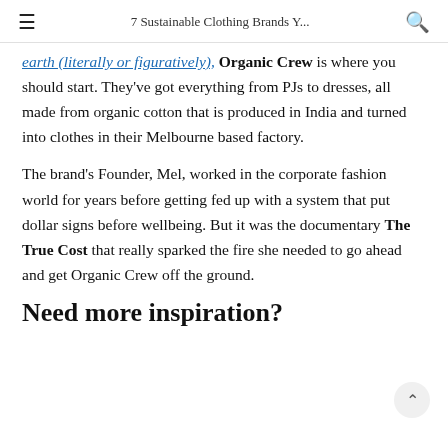7 Sustainable Clothing Brands Y...
earth (literally or figuratively), Organic Crew is where you should start. They've got everything from PJs to dresses, all made from organic cotton that is produced in India and turned into clothes in their Melbourne based factory.
The brand's Founder, Mel, worked in the corporate fashion world for years before getting fed up with a system that put dollar signs before wellbeing. But it was the documentary The True Cost that really sparked the fire she needed to go ahead and get Organic Crew off the ground.
Need more inspiration?